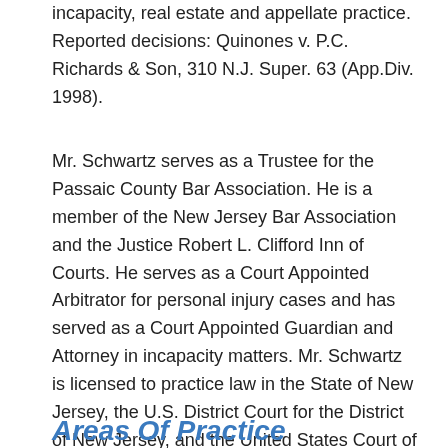incapacity, real estate and appellate practice. Reported decisions: Quinones v. P.C. Richards & Son, 310 N.J. Super. 63 (App.Div. 1998).
Mr. Schwartz serves as a Trustee for the Passaic County Bar Association. He is a member of the New Jersey Bar Association and the Justice Robert L. Clifford Inn of Courts. He serves as a Court Appointed Arbitrator for personal injury cases and has served as a Court Appointed Guardian and Attorney in incapacity matters. Mr. Schwartz is licensed to practice law in the State of New Jersey, the U.S. District Court for the District of New Jersey, and the United States Court of Appeals for the Third Circuit.
Areas Of Practice